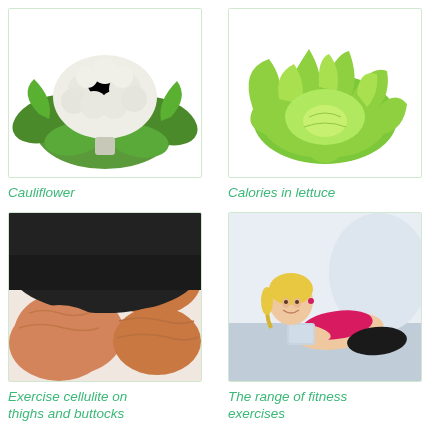[Figure (photo): Photo of a cauliflower head with green leaves on white background]
Cauliflower
[Figure (photo): Photo of fresh green lettuce head on white background]
Calories in lettuce
[Figure (photo): Close-up photo of thighs and buttocks in black shorts showing cellulite exercise area]
Exercise cellulite on thighs and buttocks
[Figure (photo): Photo of a smiling blonde woman in pink sports bra and black shorts lying on floor holding a tablet]
The range of fitness exercises